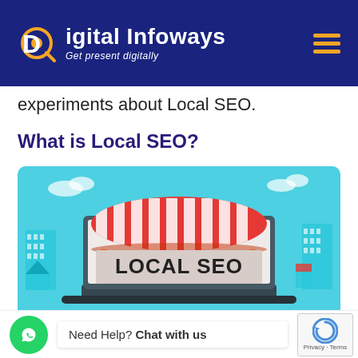Digital Infoways — Get present digitally
experiments about Local SEO.
What is Local SEO?
[Figure (illustration): Illustration of a laptop displaying a storefront with a red and white striped awning and the text LOCAL SEO on the screen, set against a teal city skyline background.]
Need Help? Chat with us